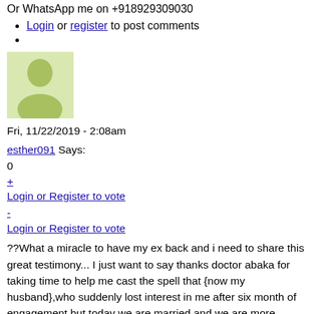Or WhatsApp me on +918929309030
Login or register to post comments
[Figure (illustration): Default user avatar placeholder — green-tinted silhouette of a person on light green background]
Fri, 11/22/2019 - 2:08am
esther091 Says:
0
+ Login or Register to vote
- Login or Register to vote
??What a miracle to have my ex back and i need to share this great testimony... I just want to say thanks doctor abaka for taking time to help me cast the spell that {now my husband},who suddenly lost interest in me after six month of engagement,but today we are married and we are more happier than never before, I am really short of words and joyful, and i don't know how much to show my appreciation to you doctor abaka, God bless you and